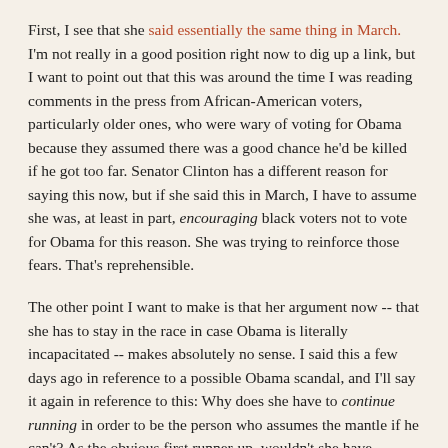First, I see that she said essentially the same thing in March. I'm not really in a good position right now to dig up a link, but I want to point out that this was around the time I was reading comments in the press from African-American voters, particularly older ones, who were wary of voting for Obama because they assumed there was a good chance he'd be killed if he got too far. Senator Clinton has a different reason for saying this now, but if she said this in March, I have to assume she was, at least in part, encouraging black voters not to vote for Obama for this reason. She was trying to reinforce those fears. That's reprehensible.
The other point I want to make is that her argument now -- that she has to stay in the race in case Obama is literally incapacitated -- makes absolutely no sense. I said this a few days ago in reference to a possible Obama scandal, and I'll say it again in reference to this: Why does she have to continue running in order to be the person who assumes the mantle if he can't? As the obvious first runner-up, wouldn't she have remained the obvious first choice to take his place even if she'd dropped out last week, or last month, or the month before?
By her logic, if Bill Clinton, running unopposed for his party's